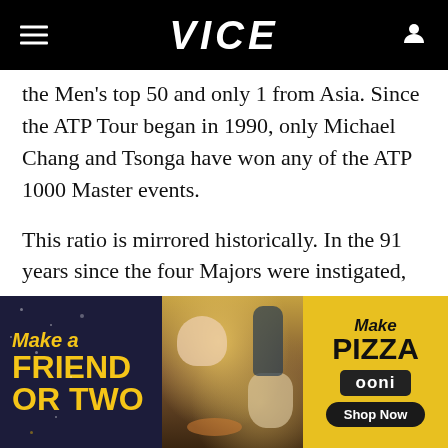VICE
the Men's top 50 and only 1 from Asia. Since the ATP Tour began in 1990, only Michael Chang and Tsonga have won any of the ATP 1000 Master events.
This ratio is mirrored historically. In the 91 years since the four Majors were instigated, only two black players have won a Grand Slam and one Asian player: America's Arthur Ashe
[Figure (photo): Advertisement banner for Ooni pizza oven. Left side has dark background with yellow text reading 'Make a FRIEND OR TWO'. Center shows a photo of people and dogs at a picnic with a pizza. Right side has yellow background with text 'Make Pizza', 'ooni' brand logo, and 'Shop Now' button.]